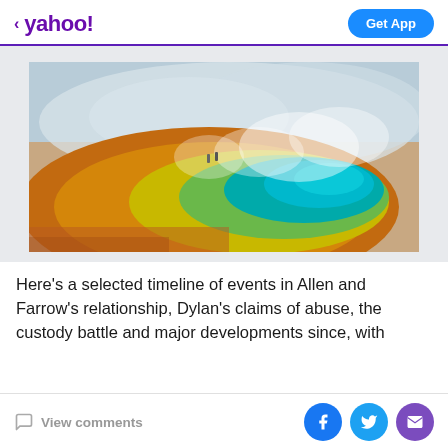< yahoo!  Get App
[Figure (photo): Aerial/ground-level photo of Grand Prismatic Spring at Yellowstone National Park showing vivid orange, yellow, green, and teal colors with steam rising, two small human figures visible in the background on the boardwalk.]
Here's a selected timeline of events in Allen and Farrow's relationship, Dylan's claims of abuse, the custody battle and major developments since, with
View comments  [Facebook] [Twitter] [Email]